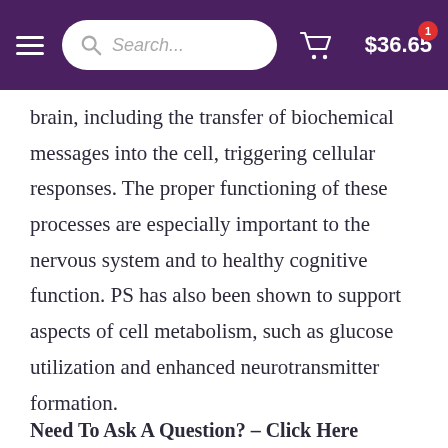Search... $36.65
brain, including the transfer of biochemical messages into the cell, triggering cellular responses. The proper functioning of these processes are especially important to the nervous system and to healthy cognitive function. PS has also been shown to support aspects of cell metabolism, such as glucose utilization and enhanced neurotransmitter formation.
Need To Ask A Question? – Click Here